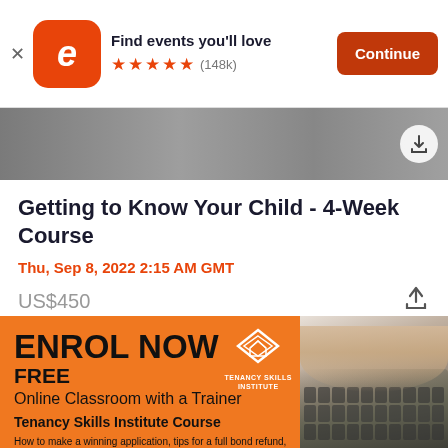[Figure (screenshot): App install banner with Eventbrite logo (orange rounded square with white e), 'Find events you'll love' text, 5 orange stars rating with (148k) reviews, and orange 'Continue' button. X close button on left.]
[Figure (photo): Partial photo strip at top of event listing page, showing cropped images, with a circular share/bookmark button on the right.]
Getting to Know Your Child - 4-Week Course
Thu, Sep 8, 2022 2:15 AM GMT
US$450
[Figure (infographic): Orange advertisement banner for Tenancy Skills Institute. Left side: 'ENROL NOW' in large bold black text, 'FREE' below, 'Online Classroom with a Trainer', Tenancy Skills Institute logo (white diamond/house icon with 'TENANCY SKILLS INSTITUTE' text), 'Tenancy Skills Institute Course', and small text 'How to make a winning application, tips for a full bond refund, tips to making your money go further and where to go to get help.' Right side: photo of hands typing on a laptop keyboard.]